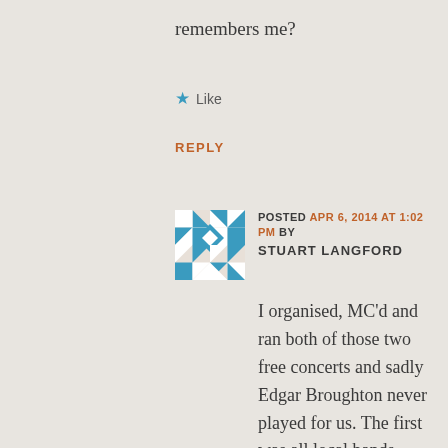remembers me?
★ Like
REPLY
POSTED APR 6, 2014 AT 1:02 PM BY STUART LANGFORD
I organised, MC'd and ran both of those two free concerts and sadly Edgar Broughton never played for us. The first was all local bands, Pesky Gee, with Roger Chapman on vocals for two songs...Ned Ludd of course, the amazing Spring...who